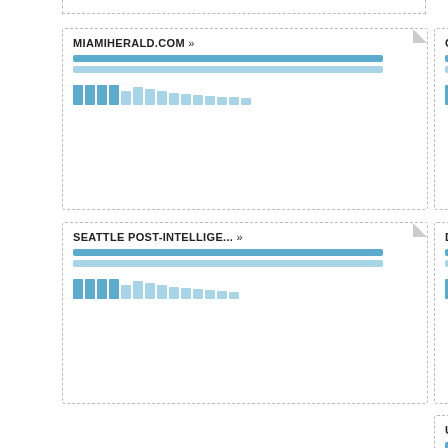[Figure (screenshot): Partial card at top left, cut off]
[Figure (screenshot): Partial card at top right, cut off]
MIAMIHERALD.COM »
[Figure (bar-chart): Bar chart inside Miami Herald card with horizontal bars and mini bars]
CHICAGO SUN-
[Figure (bar-chart): Bar chart inside Chicago Sun card]
SEATTLE POST-INTELLIGE... »
[Figure (bar-chart): Bar chart inside Seattle Post-Intelligencer card]
DETROIT FRE...
[Figure (bar-chart): Bar chart inside Detroit Free card]
U.S. NEWS & W...
[Figure (bar-chart): Bar chart inside U.S. News card]
THE FLINT JO...
[Figure (bar-chart): Bar chart inside The Flint Journal card]